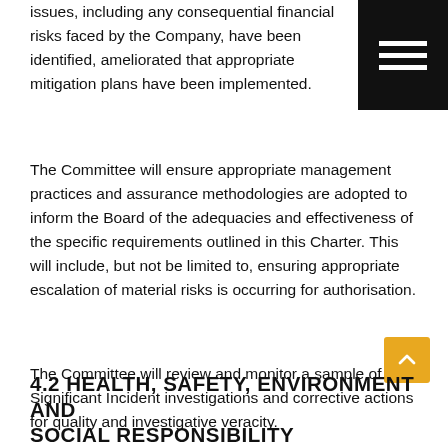issues, including any consequential financial risks faced by the Company, have been identified, ameliorated that appropriate mitigation plans have been implemented.
The Committee will ensure appropriate management practices and assurance methodologies are adopted to inform the Board of the adequacies and effectiveness of the specific requirements outlined in this Charter. This will include, but not be limited to, ensuring appropriate escalation of material risks is occurring for authorisation.
The Committee will review and monitor a sample of Significant Incident investigations and corrective actions for quality and investigative veracity.
4.2 HEALTH, SAFETY, ENVIRONMENT AND SOCIAL RESPONSIBILITY